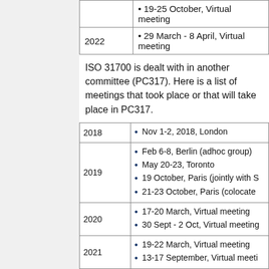| Year | Meetings |
| --- | --- |
|  | 19-25 October, Virtual meeting |
| 2022 | 29 March - 8 April, Virtual meeting |
ISO 31700 is dealt with in another committee (PC317). Here is a list of meetings that took place or that will take place in PC317.
| Year | Meetings |
| --- | --- |
| 2018 | Nov 1-2, 2018, London |
| 2019 | Feb 6-8, Berlin (adhoc group); May 20-23, Toronto; 19 October, Paris (jointly with S; 21-23 October, Paris (colocate |
| 2020 | 17-20 March, Virtual meeting; 30 Sept - 2 Oct, Virtual meeting |
| 2021 | 19-22 March, Virtual meeting; 13-17 September, Virtual meeting |
| 2022 | 16-20 May, Virtual meeting |